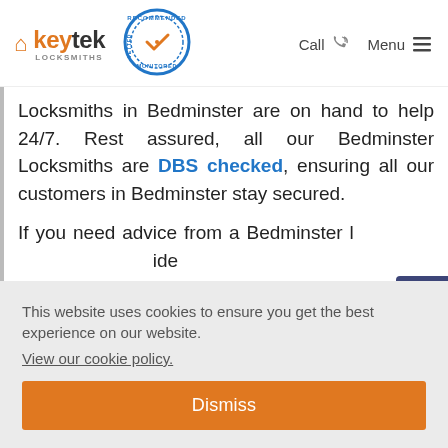keytek LOCKSMITHS | Recommended Vetted Monitored badge | Call | Menu
Locksmiths in Bedminster are on hand to help 24/7. Rest assured, all our Bedminster Locksmiths are DBS checked, ensuring all our customers in Bedminster stay secured.
If you need advice from a Bedminster locksmith, call us. We provide our
This website uses cookies to ensure you get the best experience on our website.
View our cookie policy.
Dismiss